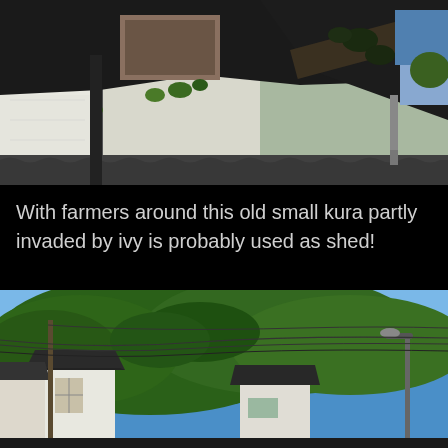[Figure (photo): Close-up aerial/overhead view of an old Japanese kura (storehouse) building with white plaster walls, dark tiled roof partially covered with ivy and plant growth, weathered wooden beams, and surrounding urban setting]
With farmers around this old small kura partly invaded by ivy is probably used as shed!
[Figure (photo): Street-level view of Japanese traditional buildings (kura-style white storehouses) with dark roofs, set against a hillside covered in green trees under a bright blue sky, with utility poles and power lines crossing the scene and a street lamp visible]